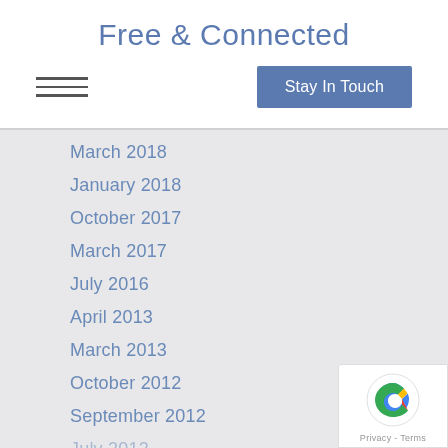Free & Connected
[Figure (other): Hamburger menu icon with three horizontal lines]
[Figure (other): Stay In Touch button, blue background, white text]
March 2018
January 2018
October 2017
March 2017
July 2016
April 2013
March 2013
October 2012
September 2012
July 2012